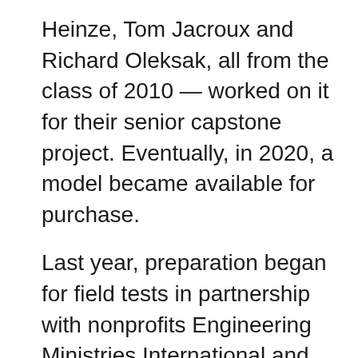Heinze, Tom Jacroux and Richard Oleksak, all from the class of 2010 — worked on it for their senior capstone project. Eventually, in 2020, a model became available for purchase.
Last year, preparation began for field tests in partnership with nonprofits Engineering Ministries International and Uganda Christian University. The goal is to solicit honest feedback from potential users, information that will inform the final design for successful scale-up.
After consulting with Nordica MacCarty, Richard and Gretchen Evans Scholar of Humanitarian Engineering, Berg went to Kampala to help train two UCU civil